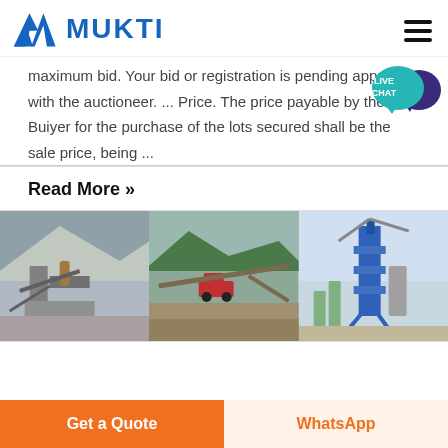MUKTI
maximum bid. Your bid or registration is pending approval with the auctioneer. ... Price. The price payable by the Buiyer for the purchase of the lots secured shall be the sale price, being ...
Read More »
[Figure (photo): Three industrial mining/quarry machinery photos side by side: left shows crushing equipment at a quarry site, middle shows conveyor belt and processing equipment at a mine site, right shows a tall blue industrial processing tower/plant.]
Get a Quote
WhatsApp